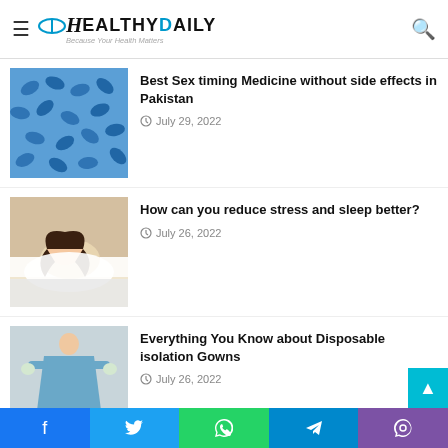HealthyDaily — Because Your Health Matters
Best Sex timing Medicine without side effects in Pakistan — July 29, 2022
How can you reduce stress and sleep better? — July 26, 2022
Everything You Know about Disposable isolation Gowns — July 26, 2022
Avocado has many health benefits — July 26, 2022
Facebook | Twitter | WhatsApp | Telegram | Viber